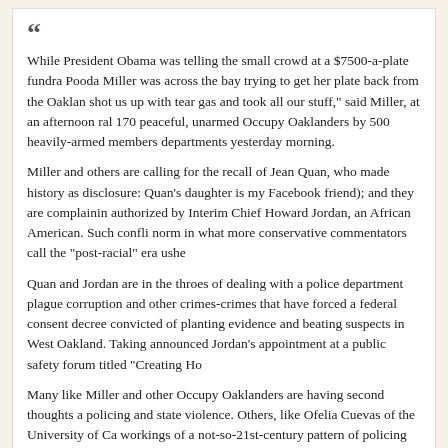While President Obama was telling the small crowd at a $7500-a-plate fundra... Pooda Miller was across the bay trying to get her plate back from the Oaklan... shot us up with tear gas and took all our stuff," said Miller, at an afternoon ral... 170 peaceful, unarmed Occupy Oaklanders by 500 heavily-armed members ... departments yesterday morning.
Miller and others are calling for the recall of Jean Quan, who made history as... disclosure: Quan's daughter is my Facebook friend); and they are complainin... authorized by Interim Chief Howard Jordan, an African American. Such confli... norm in what more conservative commentators call the “post-racial” era ushe...
Quan and Jordan are in the throes of dealing with a police department plague... corruption and other crimes-crimes that have forced a federal consent decree... convicted of planting evidence and beating suspects in West Oakland. Taking... announced Jordan’s appointment at a public safety forum titled “Creating Ho...
Many like Miller and other Occupy Oaklanders are having second thoughts a... policing and state violence. Others, like Ofelia Cuevas of the University of Ca... workings of a not-so-21st-century pattern of policing and power.
From Slate, Why Isn’t Tear Gas Illegal?
Yes, but only in war. The 1993 Chemical Weapons Convention doesn't apply... was a major proponent of the exemption, fearing that the convention might be...